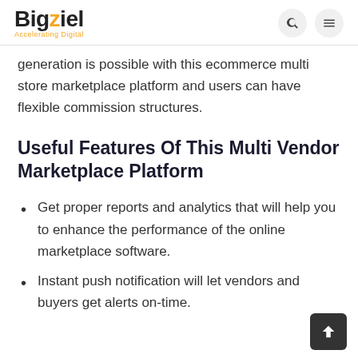Bigziel Accelerating Digital
generation is possible with this ecommerce multi store marketplace platform and users can have flexible commission structures.
Useful Features Of This Multi Vendor Marketplace Platform
Get proper reports and analytics that will help you to enhance the performance of the online marketplace software.
Instant push notification will let vendors and buyers get alerts on-time.